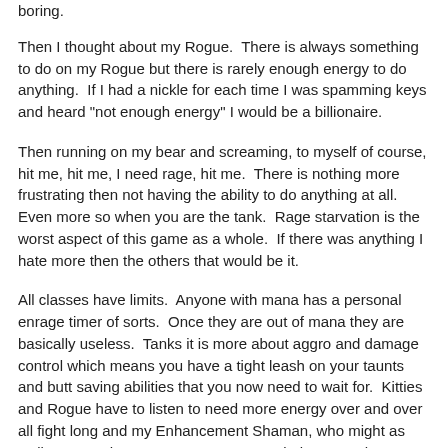boring.
Then I thought about my Rogue.  There is always something to do on my Rogue but there is rarely enough energy to do anything.  If I had a nickle for each time I was spamming keys and heard "not enough energy" I would be a billionaire.
Then running on my bear and screaming, to myself of course, hit me, hit me, I need rage, hit me.  There is nothing more frustrating then not having the ability to do anything at all.  Even more so when you are the tank.  Rage starvation is the worst aspect of this game as a whole.  If there was anything I hate more then the others that would be it.
All classes have limits.  Anyone with mana has a personal enrage timer of sorts.  Once they are out of mana they are basically useless.  Tanks it is more about aggro and damage control which means you have a tight leash on your taunts and butt saving abilities that you now need to wait for.  Kitties and Rogue have to listen to need more energy over and over all fight long and my Enhancement Shaman, who might as well not even have mana as I am never below 98%, have to